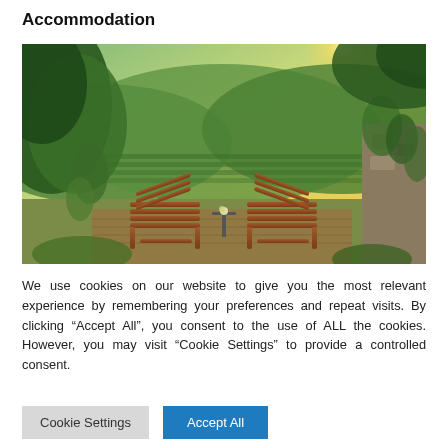Accommodation
[Figure (photo): Outdoor scenic photo showing two wooden deck chairs and a small table on a terrace, overlooking rolling green vineyard hills and trees bathed in warm sunlight.]
We use cookies on our website to give you the most relevant experience by remembering your preferences and repeat visits. By clicking “Accept All”, you consent to the use of ALL the cookies. However, you may visit "Cookie Settings" to provide a controlled consent.
Cookie Settings | Accept All